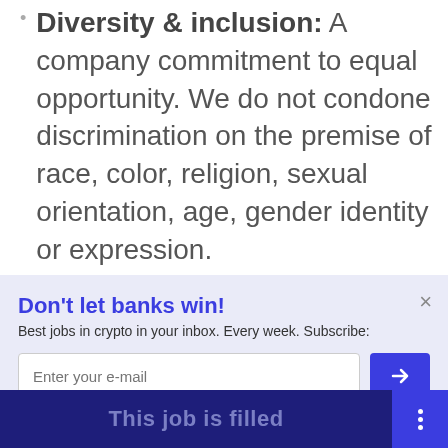Diversity & inclusion: A company commitment to equal opportunity. We do not condone discrimination on the premise of race, color, religion, sexual orientation, age, gender identity or expression.
Don't let banks win!
Best jobs in crypto in your inbox. Every week. Subscribe:
This job is filled